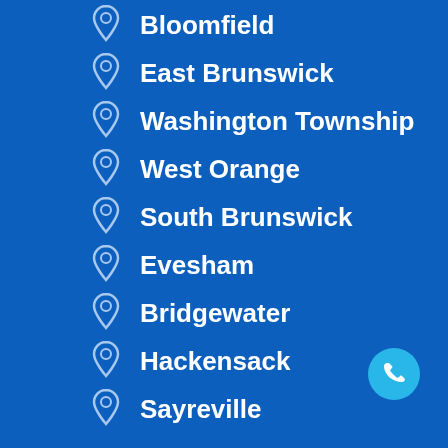Bloomfield
East Brunswick
Washington Township
West Orange
South Brunswick
Evesham
Bridgewater
Hackensack
Sayreville
Monroe